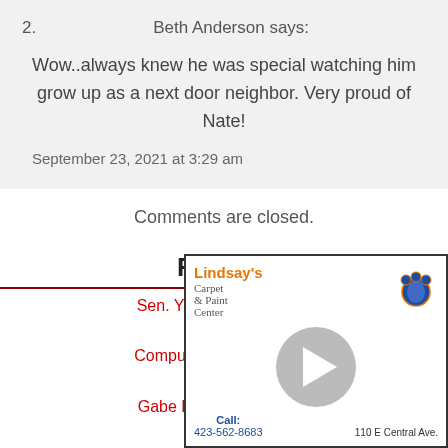2. Beth Anderson says:
Wow..always knew he was special watching him grow up as a next door neighbor. Very proud of Nate!
September 23, 2021 at 3:29 am
Comments are closed.
Related
Sen. Yager announces $ ... ser...
Computers are offline a... T...
Gabe Keen is Eagle Ti...
[Figure (advertisement): Lindsay's Carpet & Paint Center advertisement with blue paw print logo, play button circle, call number 423-562-8683, address 110 E Central Ave.]